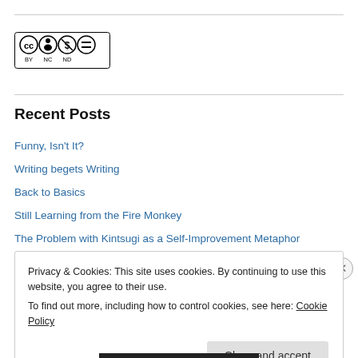[Figure (logo): Creative Commons BY-NC-ND license badge with CC, person, dollar-sign-circle, and equals icons]
Recent Posts
Funny, Isn't It?
Writing begets Writing
Back to Basics
Still Learning from the Fire Monkey
The Problem with Kintsugi as a Self-Improvement Metaphor
Privacy & Cookies: This site uses cookies. By continuing to use this website, you agree to their use.
To find out more, including how to control cookies, see here: Cookie Policy